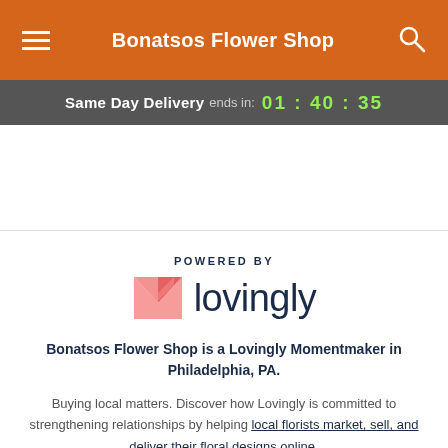Bonatsos Flower Shop
Same Day Delivery ends in: 01 : 40 : 35
[Figure (logo): Lovingly logo with heart/envelope icon and wordmark, with POWERED BY label above]
Bonatsos Flower Shop is a Lovingly Momentmaker in Philadelphia, PA.
Buying local matters. Discover how Lovingly is committed to strengthening relationships by helping local florists market, sell, and deliver their floral designs online.
Facebook and Google+ social icons, back to top button